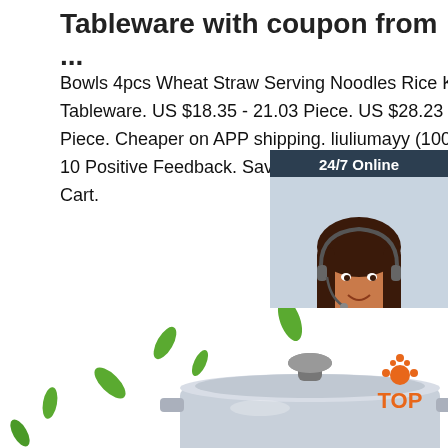Tableware with coupon from ...
Bowls 4pcs Wheat Straw Serving Noodles Rice Kitchen Tableware. US $18.35 - 21.03 Piece. US $28.23 - 32.35 Piece. Cheaper on APP shipping. liuliumayy (100.0%) Chat. 10 Positive Feedback. Save $2 With Cou $90 Save 2. Add to Cart.
[Figure (other): Get Price orange button]
[Figure (other): 24/7 Online chat widget with woman wearing headset, 'Click here for free chat!' text, and QUOTATION button]
[Figure (photo): Bottom portion showing green leaves and a stainless steel pot with lid, plus a TOP logo in the bottom right]